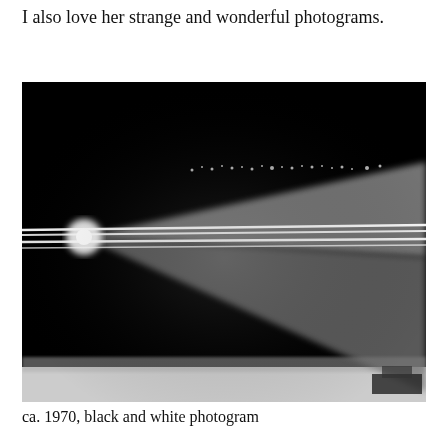I also love her strange and wonderful photograms.
[Figure (photo): Black and white photogram showing a triangular/lens-shaped light form against a dark background, with bright horizontal lines crossing through the middle. Small lights visible in the upper portion suggesting a distant scene, and a faint landscape silhouette at the bottom. Approximately ca. 1970.]
ca. 1970, black and white photogram